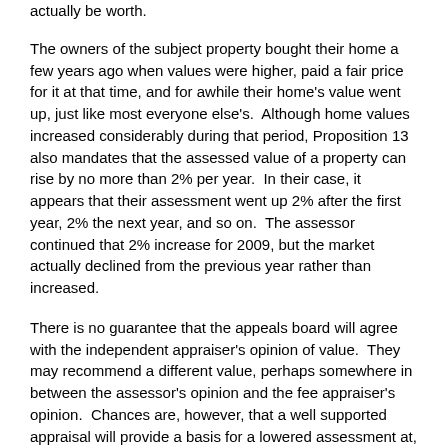actually be worth.
The owners of the subject property bought their home a few years ago when values were higher, paid a fair price for it at that time, and for awhile their home's value went up, just like most everyone else's.  Although home values increased considerably during that period, Proposition 13 also mandates that the assessed value of a property can rise by no more than 2% per year.  In their case, it appears that their assessment went up 2% after the first year, 2% the next year, and so on.  The assessor continued that 2% increase for 2009, but the market actually declined from the previous year rather than increased.
There is no guarantee that the appeals board will agree with the independent appraiser's opinion of value.  They may recommend a different value, perhaps somewhere in between the assessor's opinion and the fee appraiser's opinion.  Chances are, however, that a well supported appraisal will provide a basis for a lowered assessment at, or near, the opinion of value of the qualified independent appraisal expert.  Savings on property taxes, not only for the current year, but perhaps for years to come, could be substantial, maybe thousands of dollars, and be well worth the cost of the appraisal.